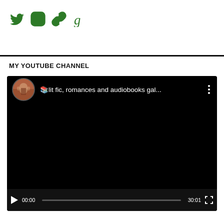[Figure (other): Social media icons row: Twitter bird (green), Instagram camera (green), chain/link icon (green), Goodreads 'g' letter (green)]
MY YOUTUBE CHANNEL
[Figure (screenshot): Embedded YouTube video player screenshot. Shows a black video frame with channel avatar (circular photo of a building arch) and title text '📚lit fic, romances and audiobooks gal...' with a three-dot menu icon at top. Bottom controls show play button, timecode 00:00, progress bar, end time 30:01, and fullscreen icon.]